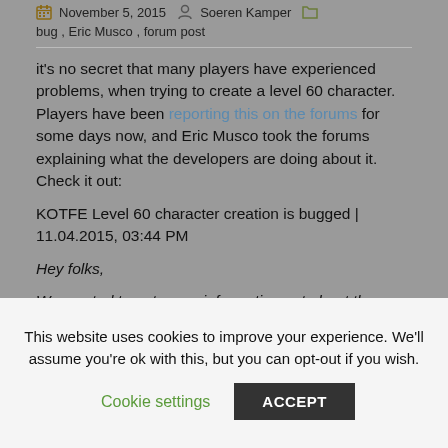November 5, 2015  Soeren Kamper  bug, Eric Musco, forum post
it's no secret that many players have experienced problems, when trying to create a level 60 character. Players have been reporting this on the forums for some days now, and Eric Musco took the forums explaining what the developers are doing about it. Check it out:
KOTFE Level 60 character creation is bugged | 11.04.2015, 03:44 PM
Hey folks,
We wanted to get some information out about the issue you are experiencing. First off, there is a bug that can occur when you make a level 60 character, it instead
This website uses cookies to improve your experience. We'll assume you're ok with this, but you can opt-out if you wish.
Cookie settings
ACCEPT